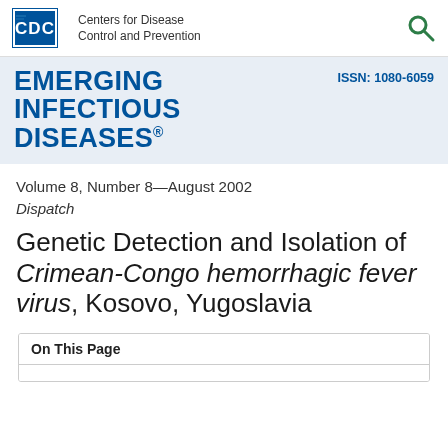CDC Centers for Disease Control and Prevention
EMERGING INFECTIOUS DISEASES® ISSN: 1080-6059
Volume 8, Number 8—August 2002
Dispatch
Genetic Detection and Isolation of Crimean-Congo hemorrhagic fever virus, Kosovo, Yugoslavia
On This Page